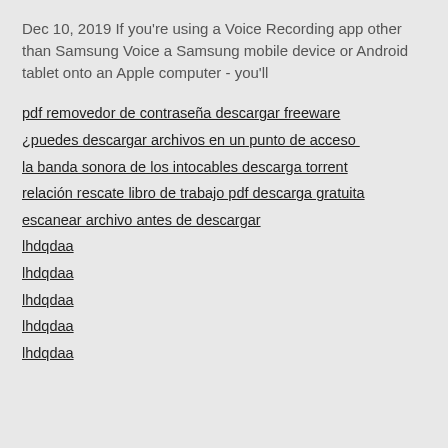Dec 10, 2019 If you're using a Voice Recording app other than Samsung Voice a Samsung mobile device or Android tablet onto an Apple computer - you'll
pdf removedor de contraseña descargar freeware
¿puedes descargar archivos en un punto de acceso
la banda sonora de los intocables descarga torrent
relación rescate libro de trabajo pdf descarga gratuita
escanear archivo antes de descargar
lhdqdaa
lhdqdaa
lhdqdaa
lhdqdaa
lhdqdaa